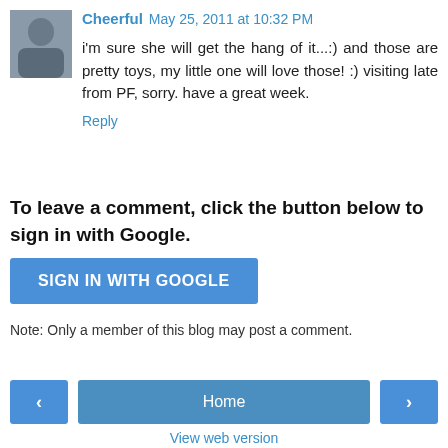[Figure (photo): Avatar photo of a person outdoors]
Cheerful May 25, 2011 at 10:32 PM
i'm sure she will get the hang of it...:) and those are pretty toys, my little one will love those! :) visiting late from PF, sorry. have a great week.
Reply
To leave a comment, click the button below to sign in with Google.
[Figure (screenshot): SIGN IN WITH GOOGLE button]
Note: Only a member of this blog may post a comment.
[Figure (screenshot): Navigation bar with left arrow, Home button, and right arrow]
View web version
Powered by Blogger.